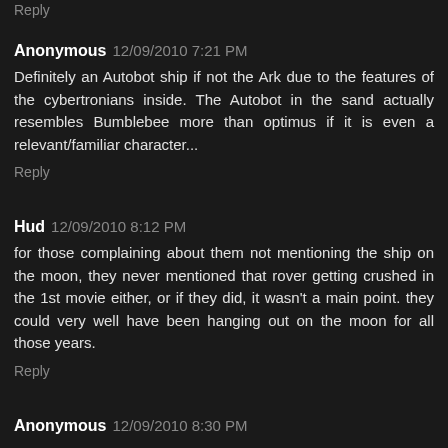Reply
Anonymous 12/09/2010 7:21 PM
Definitely an Autobot ship if not the Ark due to the features of the cybertronians inside. The Autobot in the sand actually resembles Bumblebee more than optimus if it is even a relevant/familiar character...
Reply
Hud 12/09/2010 8:12 PM
for those complaining about them not mentioning the ship on the moon, they never mentioned that rover getting crushed in the 1st movie either, or if they did, it wasn't a main point. they could very well have been hanging out on the moon for all those years.
Reply
Anonymous 12/09/2010 8:30 PM